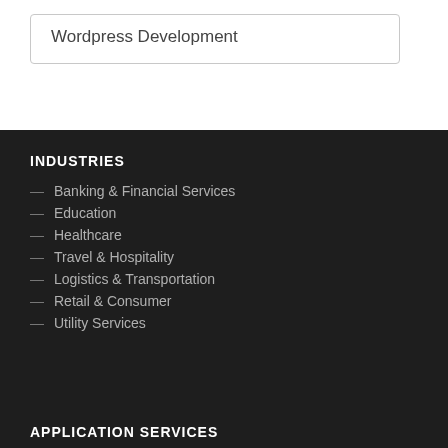Wordpress Development
INDUSTRIES
Banking & Financial Services
Education
Healthcare
Travel & Hospitality
Logistics & Transportation
Retail & Consumer
Utility Services
APPLICATION SERVICES